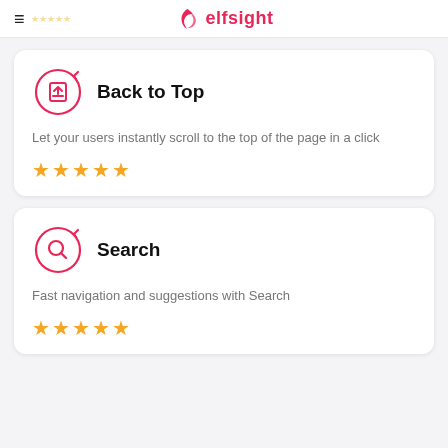elfsight
Back to Top
Let your users instantly scroll to the top of the page in a click
★★★★★
Search
Fast navigation and suggestions with Search
★★★★★